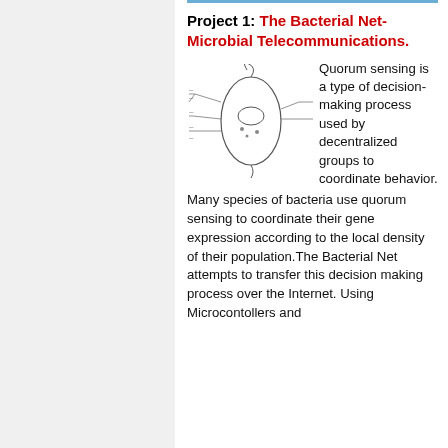Project 1: The Bacterial Net-Microbial Telecommunications.
[Figure (illustration): Line drawing of a bacterial cell with labeled parts including flagella, cell wall, cytoplasm components, and other internal structures.]
Quorum sensing is a type of decision-making process used by decentralized groups to coordinate behavior. Many species of bacteria use quorum sensing to coordinate their gene expression according to the local density of their population.The Bacterial Net attempts to transfer this decision making process over the Internet. Using Microcontollers and